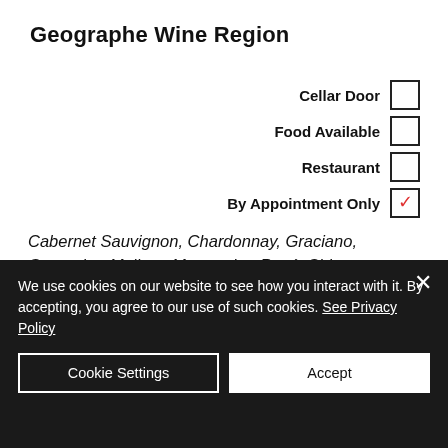Geographe Wine Region
Cellar Door [unchecked], Food Available [unchecked], Restaurant [unchecked], By Appointment Only [checked]
Cabernet Sauvignon, Chardonnay, Graciano, Grenache, Malbec, Mourvedre, Rosé, Shiraz, Tempranillo.
Learn More
We use cookies on our website to see how you interact with it. By accepting, you agree to our use of such cookies. See Privacy Policy
Cookie Settings
Accept